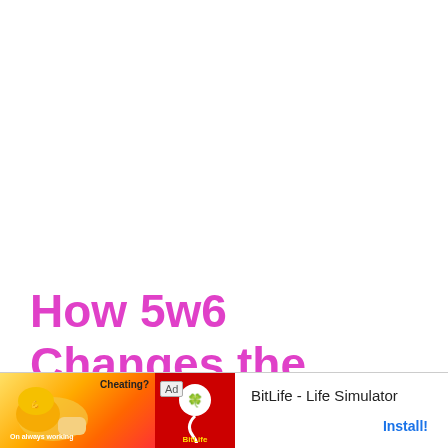How 5w6 Changes the Natural Tendencies of the INTP
As ear
[Figure (other): Mobile app advertisement banner for BitLife - Life Simulator with a yellow/orange/red illustrated background showing a muscular arm, a red panel with a sperm mascot logo, and text reading 'BitLife - Life Simulator' with an 'Install!' button. An 'Ad' label is shown.]